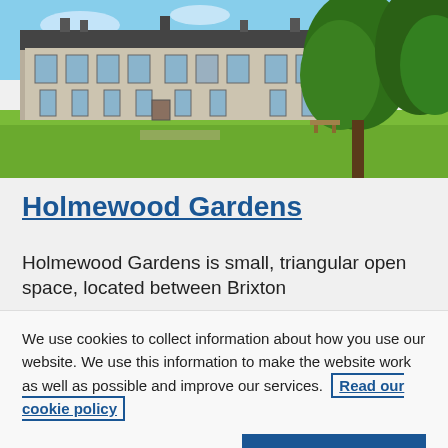[Figure (photo): Photograph of Holmewood Gardens showing a green open space with Victorian terraced houses in the background and trees on either side]
Holmewood Gardens
Holmewood Gardens is small, triangular open space, located between Brixton
We use cookies to collect information about how you use our website. We use this information to make the website work as well as possible and improve our services. Read our cookie policy
Change your cookie settings
Accept all cookies